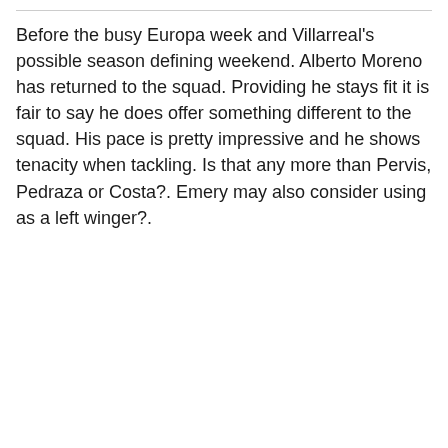Before the busy Europa week and Villarreal's possible season defining weekend. Alberto Moreno has returned to the squad. Providing he stays fit it is fair to say he does offer something different to the squad. His pace is pretty impressive and he shows tenacity when tackling. Is that any more than Pervis, Pedraza or Costa?. Emery may also consider using as a left winger?.